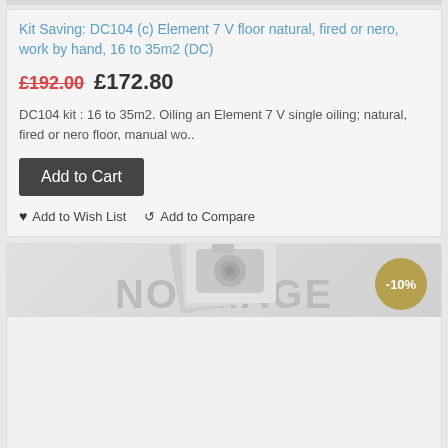Kit Saving: DC104 (c) Element 7 V floor natural, fired or nero, work by hand, 16 to 35m2 (DC)
£192.00  £172.80
DC104 kit : 16 to 35m2. Oiling an Element 7 V single oiling; natural, fired or nero floor, manual wo..
Add to Cart
♥ Add to Wish List   ↺ Add to Compare
[Figure (photo): No image placeholder with -10% discount badge. Grey background with 'NO IMAGE' text and camera icon graphic.]